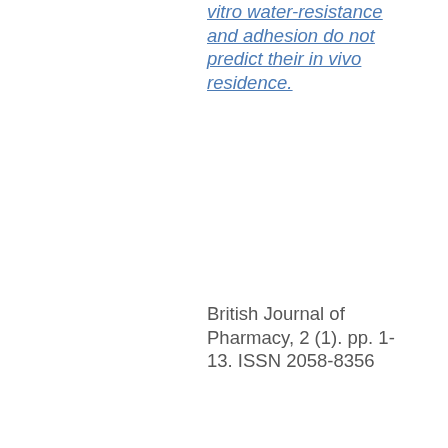vitro water-resistance and adhesion do not predict their in vivo residence.
British Journal of Pharmacy, 2 (1). pp. 1-13. ISSN 2058-8356